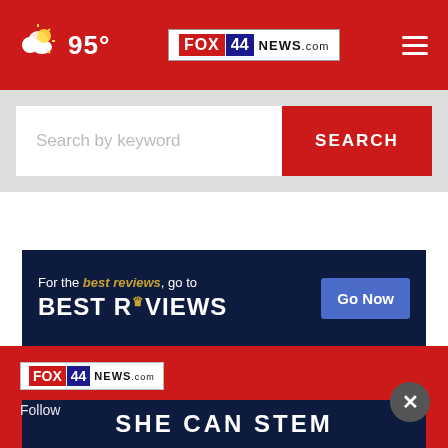[Figure (screenshot): FOX 44 News website header with red background, weather icon showing 95°, FOX44NEWS.com logo, and hamburger menu]
Search by keyword
SEARCH
[Figure (screenshot): BestReviews advertisement banner with dark navy background: 'For the best reviews, go to BESTREVIEWS' with 'Go Now' blue button]
[Figure (logo): FOX 44 NEWS.com logo on red background in footer]
Follow
[Figure (screenshot): SHE CAN STEM advertisement banner with dark background]